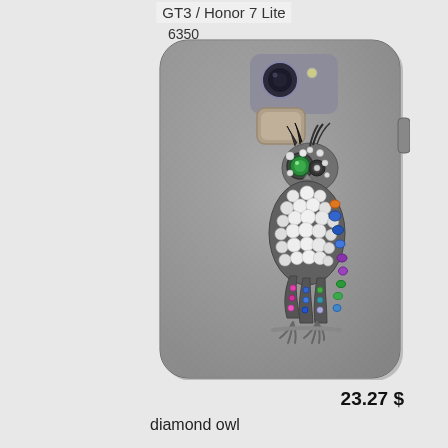GT3 / Honor 7 Lite
6350
[Figure (photo): A smartphone back case with a diamond owl jewel decoration on a silver textured background. The owl is made of rhinestones and colorful gemstones in blue, green, purple, orange colors forming the wings and tail.]
23.27 $
diamond owl